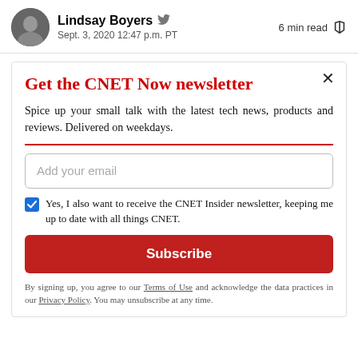Lindsay Boyers  Sept. 3, 2020 12:47 p.m. PT  6 min read
Get the CNET Now newsletter
Spice up your small talk with the latest tech news, products and reviews. Delivered on weekdays.
Add your email
Yes, I also want to receive the CNET Insider newsletter, keeping me up to date with all things CNET.
Subscribe
By signing up, you agree to our Terms of Use and acknowledge the data practices in our Privacy Policy. You may unsubscribe at any time.